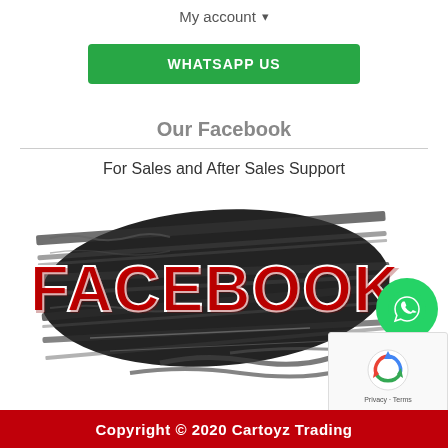My account ▾
WHATSAPP US
Our Facebook
For Sales and After Sales Support
[Figure (logo): Facebook logo with tire track brush stroke background, bold red text 'FACEBOOK' on black grunge background]
Copyright © 2020  Cartoyz Trading